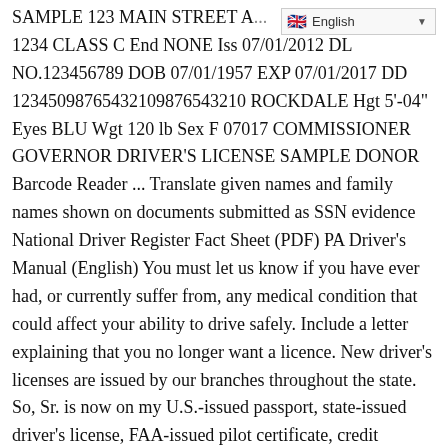[Figure (other): Language selector badge showing English with flag icon and dropdown arrow]
SAMPLE 123 MAIN STREET A... 1234 CLASS C End NONE Iss 07/01/2012 DL NO.123456789 DOB 07/01/1957 EXP 07/01/2017 DD 12345098765432109876543210 ROCKDALE Hgt 5'-04" Eyes BLU Wgt 120 lb Sex F 07017 COMMISSIONER GOVERNOR DRIVER'S LICENSE SAMPLE DONOR Barcode Reader ... Translate given names and family names shown on documents submitted as SSN evidence National Driver Register Fact Sheet (PDF) PA Driver's Manual (English) You must let us know if you have ever had, or currently suffer from, any medical condition that could affect your ability to drive safely. Include a letter explaining that you no longer want a licence. New driver's licenses are issued by our branches throughout the state. So, Sr. is now on my U.S.-issued passport, state-issued driver's license, FAA-issued pilot certificate, credit